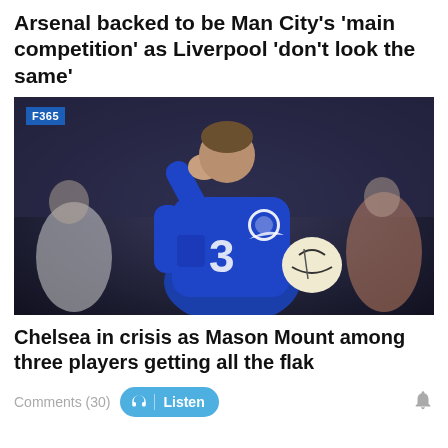Arsenal backed to be Man City's 'main competition' as Liverpool 'don't look the same'
[Figure (photo): Chelsea player in blue kit with Three sponsor badge, holding a football and covering his face with his arm in apparent distress. F365 badge overlaid in top left corner.]
Chelsea in crisis as Mason Mount among three players getting all the flak
Comments (30)  Listen